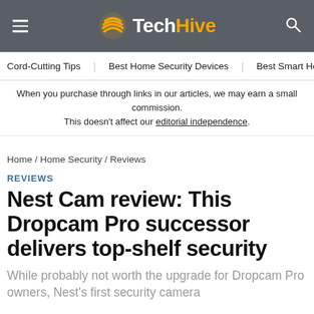TechHive
Cord-Cutting Tips   Best Home Security Devices   Best Smart Home Hubs
When you purchase through links in our articles, we may earn a small commission. This doesn't affect our editorial independence.
Home / Home Security / Reviews
REVIEWS
Nest Cam review: This Dropcam Pro successor delivers top-shelf security
While probably not worth the upgrade for Dropcam Pro owners, Nest's first security camera